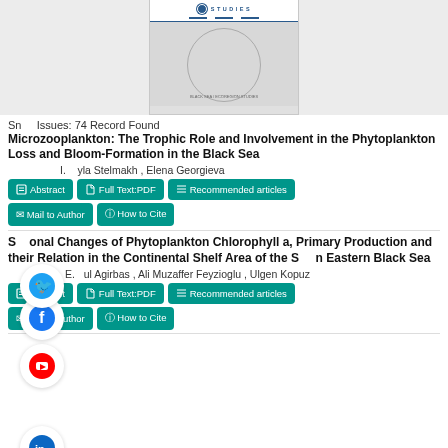[Figure (photo): Journal cover image showing a circular design on grey background with blue header bar reading STUDIES]
Sn Issues: 74 Record Found
Microzooplankton: The Trophic Role and Involvement in the Phytoplankton Loss and Bloom-Formation in the Black Sea
I. yla Stelmakh , Elena Georgieva
Abstract | Full Text:PDF | Recommended articles | Mail to Author | How to Cite
Seasonal Changes of Phytoplankton Chlorophyll a, Primary Production and their Relation in the Continental Shelf Area of the Southern Eastern Black Sea
E. ul Agirbas , Ali Muzaffer Feyzioglu , Ulgen Kopuz
Abstract | Full Text:PDF | Recommended articles | Mail to Author | How to Cite